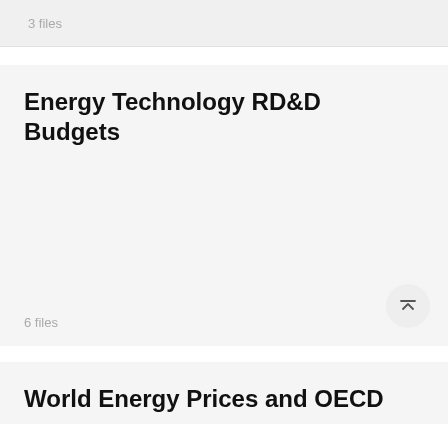3 files
Energy Technology RD&D Budgets
6 files
World Energy Prices and OECD